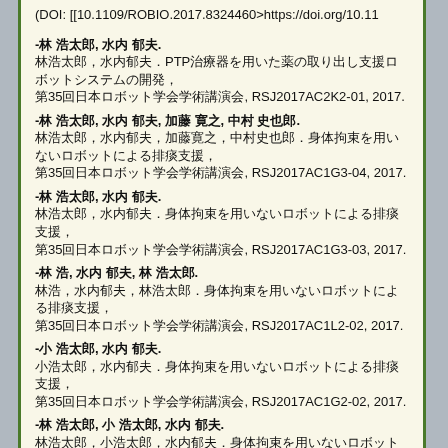(DOI: [[10.1109/ROBIO.2017.8324460>https://doi.org/10.11
-林 浩太郎, 水内 郁夫.
林浩太郎，水内郁夫．PTP治療器を用いた薬の取り出し支援ロボットシステムの開発，
第35回日本ロボット学会学術講演会, RSJ2017AC2K2-01, 2017.
-林 浩太郎, 水内 郁夫, 加藤 寛之, 中村 史也郎.
林浩太郎，水内郁夫，加藤寛之，中村史也郎．身体拘束を用いないロボットによる排痰支援，
第35回日本ロボット学会学術講演会, RSJ2017AC1G3-04, 2017.
-林 浩太郎, 水内 郁夫.
林浩太郎，水内郁夫．身体拘束を用いないロボットによる排痰支援，
第35回日本ロボット学会学術講演会, RSJ2017AC1G3-03, 2017.
-林 浩, 水内 郁夫, 林 浩太郎.
林浩，水内郁夫，林浩太郎．身体拘束を用いないロボットによる排痰支援，
第35回日本ロボット学会学術講演会, RSJ2017AC1L2-02, 2017.
-小 浩太郎, 水内 郁夫.
小浩太郎，水内郁夫．身体拘束を用いないロボットによる排痰支援，
第35回日本ロボット学会学術講演会, RSJ2017AC1G2-02, 2017.
-林 浩太郎, 小 浩太郎, 水内 郁夫.
林浩太郎，小浩太郎，水内郁夫．身体拘束を用いないロボットによる排痰支援（第35回日本ロボット学会学術講演会），
第35回日本ロボット学会学術講演会, RSJ2017AC1G1-02, 2017.
-Kotaro Hayashi, Ikuo Mizuuchi.
Investigation of Joint action: Eye Blinking Behavior Improving
in Proceedings of 2017 26th IEEE International Symposium